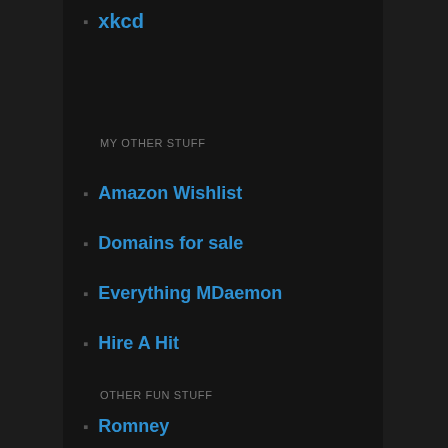xkcd
MY OTHER STUFF
Amazon Wishlist
Domains for sale
Everything MDaemon
Hire A Hit
OTHER FUN STUFF
Romney
Santorum
SERVICES I USE
AliExpress
DigitalOcean
DNS Made Easy
Easynews (NNTP and web usenet access)
Evernote
Fastmail
Gixen: eBay Sniper